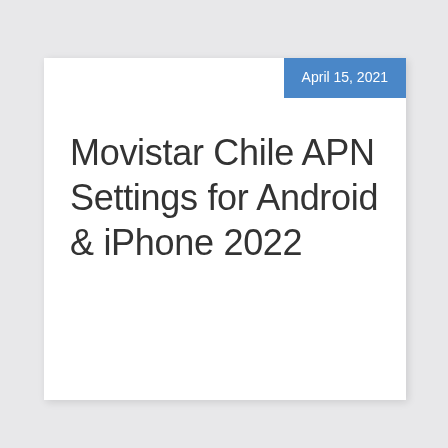April 15, 2021
Movistar Chile APN Settings for Android & iPhone 2022